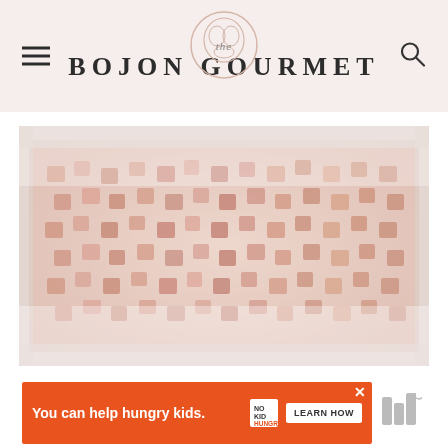the BOJON GOURMET
[Figure (photo): Close-up photograph of cubed food (likely caramel or sweet potato pieces) arranged in a white baking pan, slightly blurred/washed out with warm pinkish-orange tones]
[Figure (infographic): Orange advertisement banner reading 'You can help hungry kids.' with No Kid Hungry logo and 'LEARN HOW' button]